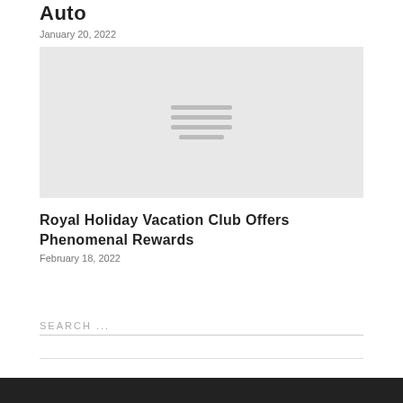Auto
January 20, 2022
[Figure (photo): Placeholder image with horizontal lines icon centered on light gray background]
Royal Holiday Vacation Club Offers Phenomenal Rewards
February 18, 2022
SEARCH ...